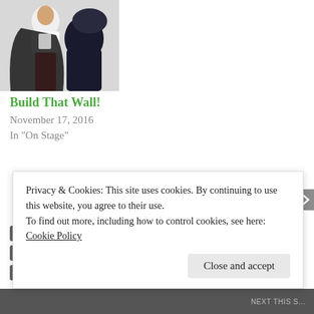[Figure (photo): Two performers in theatrical costumes — one in a white ruffled shirt with red trousers and dark cape, another partially visible, against a white background.]
Build That Wall!
November 17, 2016
In "On Stage"
ADAM BRAZIER
CINDY LAPENA
CONFEDERATION CENTRE OF THE ARTS
GARNY GALLANT
GRAHAM PUTNAM
HOMBURG THEATRE
JESSICA GALLANT
Privacy & Cookies: This site uses cookies. By continuing to use this website, you agree to their use.
To find out more, including how to control cookies, see here:
Cookie Policy
Close and accept